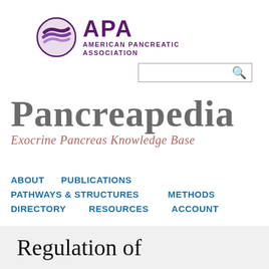[Figure (logo): APA American Pancreatic Association logo with purple swirl icon and text]
[Figure (screenshot): Search bar input field with magnifying glass icon]
PANCREAPEDIA Exocrine Pancreas Knowledge Base
ABOUT   PUBLICATIONS
PATHWAYS & STRUCTURES   METHODS
DIRECTORY   RESOURCES   ACCOUNT
Regulation of